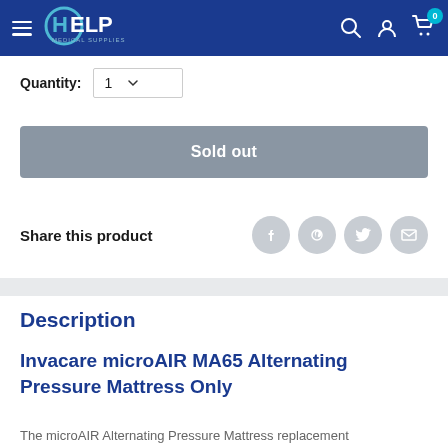HELP Medical Supplies navigation bar with logo, search, account, and cart icons
Quantity: 1
Sold out
Share this product
Description
Invacare microAIR MA65 Alternating Pressure Mattress Only
The microAIR Alternating Pressure Mattress replacement